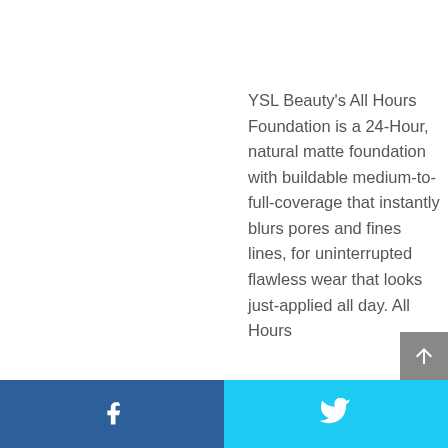YSL Beauty's All Hours Foundation is a 24-Hour, natural matte foundation with buildable medium-to-full-coverage that instantly blurs pores and fines lines, for uninterrupted flawless wear that looks just-applied all day. All Hours
Facebook | Twitter share buttons